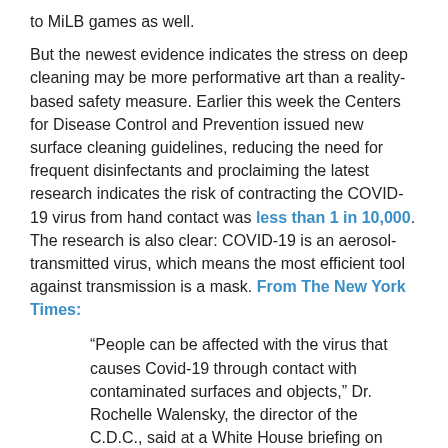to MiLB games as well.
But the newest evidence indicates the stress on deep cleaning may be more performative art than a reality-based safety measure. Earlier this week the Centers for Disease Control and Prevention issued new surface cleaning guidelines, reducing the need for frequent disinfectants and proclaiming the latest research indicates the risk of contracting the COVID-19 virus from hand contact was less than 1 in 10,000. The research is also clear: COVID-19 is an aerosol-transmitted virus, which means the most efficient tool against transmission is a mask. From The New York Times:
“People can be affected with the virus that causes Covid-19 through contact with contaminated surfaces and objects,” Dr. Rochelle Walensky, the director of the C.D.C., said at a White House briefing on Monday. “However, evidence has demonstrated that the risk by this route of infection of transmission is actually low.”
The admission is long overdue, scientists say.